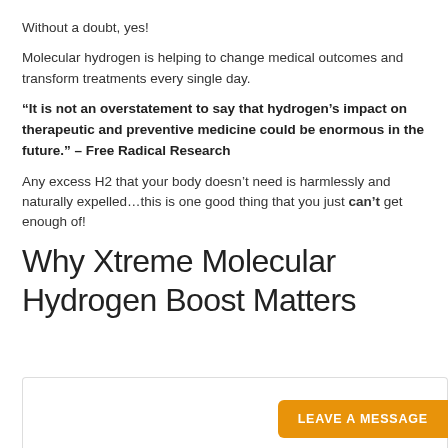Without a doubt, yes!
Molecular hydrogen is helping to change medical outcomes and transform treatments every single day.
“It is not an overstatement to say that hydrogen’s impact on therapeutic and preventive medicine could be enormous in the future.” – Free Radical Research
Any excess H2 that your body doesn’t need is harmlessly and naturally expelled…this is one good thing that you just can’t get enough of!
Why Xtreme Molecular Hydrogen Boost Matters
LEAVE A MESSAGE